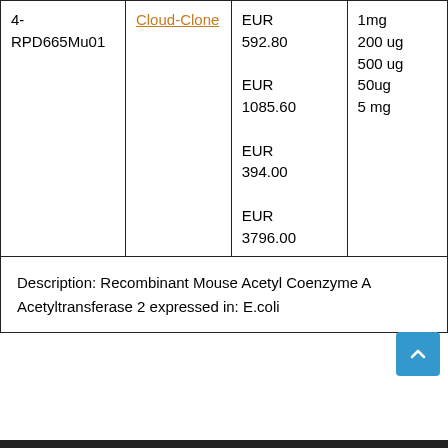| Product ID | Supplier | Price | Size |
| --- | --- | --- | --- |
| 4-RPD665Mu01 | Cloud-Clone | EUR
EUR 592.80
EUR 1085.60
EUR 394.00
EUR 3796.00 | 1mg
200 ug
500 ug
50ug
5 mg |
Description: Recombinant Mouse Acetyl Coenzyme A Acetyltransferase 2 expressed in: E.coli